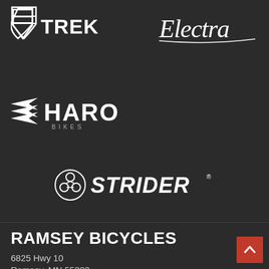[Figure (logo): Trek bicycle brand logo - white shield icon with TREK text]
[Figure (logo): Electra bicycle brand logo - white italic script text 'Electra']
[Figure (logo): Haro Bikes brand logo - white wings/chevron icon with HARO BIKES text]
[Figure (logo): Strider brand logo - circular icon with three connected wheels and bold STRIDER text]
RAMSEY BICYCLES
6825 Hwy 10
Ramsey, MN 55303